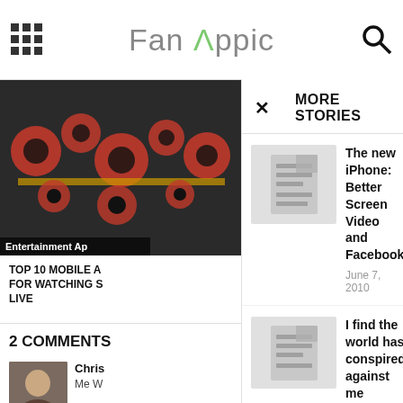Fan Appic
[Figure (screenshot): Mobile app screenshot showing a news/blog app 'Fan Appic' with a 'More Stories' overlay panel on the right side, and a partially visible main content panel on the left showing an image and comments.]
Entertainment Ap
TOP 10 MOBILE A FOR WATCHING S LIVE
2 COMMENTS
Chris
Me W
Ashka
Fianlly the right watch for a super geek like me 🙂
MORE STORIES
The new iPhone: Better Screen Video and Facebook
June 7, 2010
I find the world has conspired against me
June 7, 2010
How to use multitasking in iPhone 3GS iOS 4
June 23, 2010